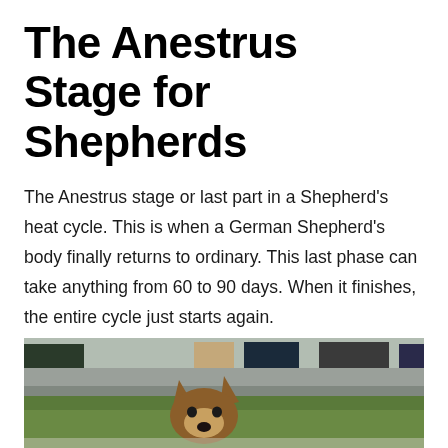The Anestrus Stage for Shepherds
The Anestrus stage or last part in a Shepherd's heat cycle. This is when a German Shepherd's body finally returns to ordinary. This last phase can take anything from 60 to 90 days. When it finishes, the entire cycle just starts again.
[Figure (photo): A German Shepherd dog sitting on grass looking at the camera, with a parking lot, cars, and road visible in the background.]